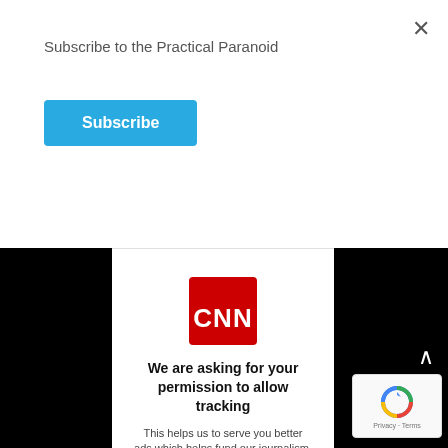Subscribe to the Practical Paranoid
[Figure (screenshot): Blue Subscribe button]
[Figure (screenshot): CNN app permission dialog with CNN logo, heading 'We are asking for your permission to allow tracking', subtext 'This helps us to serve you better ads which helps fund our journalism.', two dots pagination, and a black Next button. Page is overlaid on a black background with a white modal card. A reCAPTCHA badge appears in the bottom right. An up-arrow chevron appears to the right of the modal.]